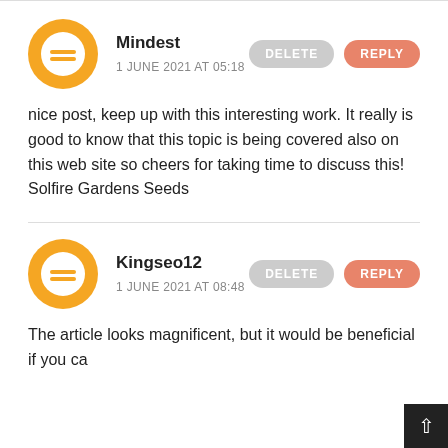[Figure (illustration): Blogger avatar icon - orange circle with white equal sign/blogger icon for user Mindest]
Mindest
1 JUNE 2021 AT 05:18
nice post, keep up with this interesting work. It really is good to know that this topic is being covered also on this web site so cheers for taking time to discuss this! Solfire Gardens Seeds
[Figure (illustration): Blogger avatar icon - orange circle with white equal sign/blogger icon for user Kingseo12]
Kingseo12
1 JUNE 2021 AT 08:48
The article looks magnificent, but it would be beneficial if you ca